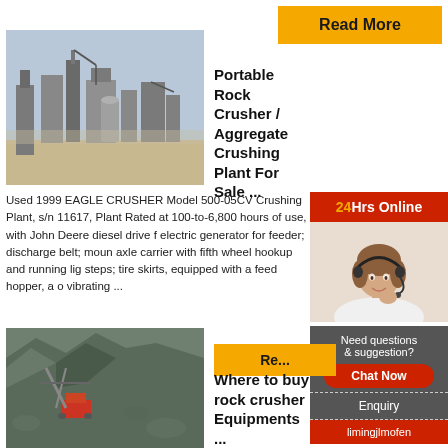[Figure (photo): Industrial plant / aggregate crushing facility with tall structures and cranes against a light sky]
Read More
Portable Rock Crusher / Aggregate Crushing Plant For Sale ...
Used 1999 EAGLE CRUSHER Model 500-05CV Crushing Plant, s/n 11617, Plant Rated at 100-to-6,800 hours of use, with John Deere diesel drive f electric generator for feeder; discharge belt; moun axle carrier with fifth wheel hookup and running lig steps; tire skirts, equipped with a feed hopper, a o vibrating ...
[Figure (photo): 24Hrs Online - woman with headset smiling]
Need questions & suggestion?
Chat Now
Enquiry
limingjlmofen
[Figure (photo): Quarry or mine excavation site with equipment and rocky terrain]
Read More
Where to buy rock crusher Equipments ...